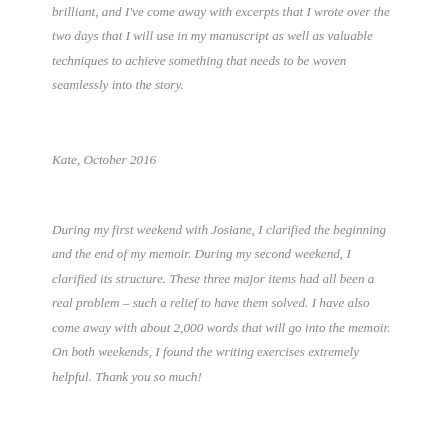brilliant, and I've come away with excerpts that I wrote over the two days that I will use in my manuscript as well as valuable techniques to achieve something that needs to be woven seamlessly into the story.
Kate, October 2016
During my first weekend with Josiane, I clarified the beginning and the end of my memoir. During my second weekend, I clarified its structure. These three major items had all been a real problem – such a relief to have them solved. I have also come away with about 2,000 words that will go into the memoir. On both weekends, I found the writing exercises extremely helpful. Thank you so much!